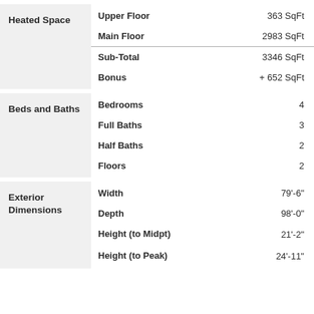| Category | Item | Value |
| --- | --- | --- |
| Heated Space | Upper Floor | 363 SqFt |
| Heated Space | Main Floor | 2983 SqFt |
| Heated Space | Sub-Total | 3346 SqFt |
| Heated Space | Bonus | + 652 SqFt |
| Beds and Baths | Bedrooms | 4 |
| Beds and Baths | Full Baths | 3 |
| Beds and Baths | Half Baths | 2 |
| Beds and Baths | Floors | 2 |
| Exterior Dimensions | Width | 79'-6" |
| Exterior Dimensions | Depth | 98'-0" |
| Exterior Dimensions | Height (to Midpt) | 21'-2" |
| Exterior Dimensions | Height (to Peak) | 24'-11" |